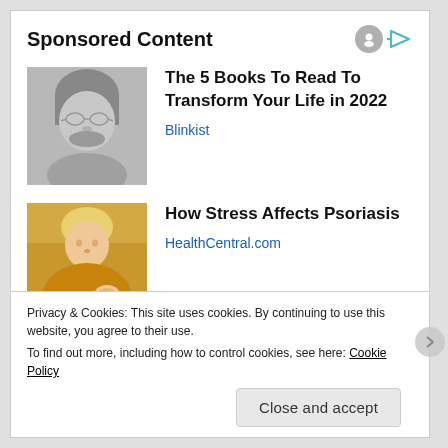Sponsored Content
[Figure (photo): Grayscale photo of a man with glasses and facial hair]
The 5 Books To Read To Transform Your Life in 2022
Blinkist
[Figure (photo): Photo of a woman in a yellow sweater looking at her hand/arm]
How Stress Affects Psoriasis
HealthCentral.com
Privacy & Cookies: This site uses cookies. By continuing to use this website, you agree to their use.
To find out more, including how to control cookies, see here: Cookie Policy
Close and accept